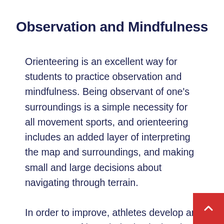Observation and Mindfulness
Orienteering is an excellent way for students to practice observation and mindfulness. Being observant of one’s surroundings is a simple necessity for all movement sports, and orienteering includes an added layer of interpreting the map and surroundings, and making small and large decisions about navigating through terrain.
In order to improve, athletes develop an awareness of how their physical and emotional state will affect their performance. When they make mistakes or have trouble finding a checkpoint, they have